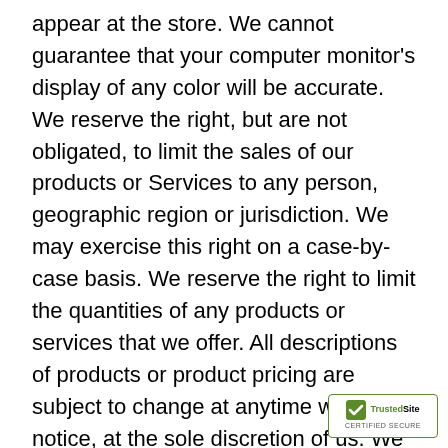appear at the store. We cannot guarantee that your computer monitor's display of any color will be accurate. We reserve the right, but are not obligated, to limit the sales of our products or Services to any person, geographic region or jurisdiction. We may exercise this right on a case-by-case basis. We reserve the right to limit the quantities of any products or services that we offer. All descriptions of products or product pricing are subject to change at anytime without notice, at the sole discretion of us. We reserve the right to discontinue any product at any time. Any offer for any product or service made on this site is void where prohibited. We do not warrant that the quality of any products, services, information, or other material purchased or obtained by you will meet your expectations, or that any errors in the Service will be corrected.
[Figure (logo): TrustedSite CERTIFIED SECURE badge — green checkmark with shield icon, bold text reading 'TrustedSite', subtext 'CERTIFIED SECURE']